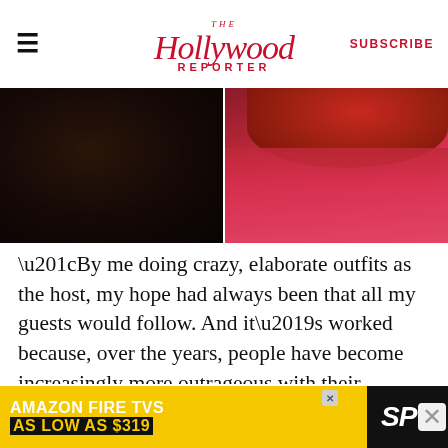The Hollywood Reporter | SUBSCRIBE
[Figure (photo): Two side-by-side photos: left shows dark textured hair/background; right shows a woman with red hair and a red lace dress from behind]
“By me doing crazy, elaborate outfits as the host, my hope had always been that all my guests would follow. And it’s worked because, over the years, people have become increasingly more outrageous with their costumes,” says Klum, whose party continues to attract an eclectic group of stars, with the likes of Gabrielle Union, Mike Myers, Bethenny Frankel and Zac Posen attending. “The party has become almost legendary. It’s epic. I feel like my love for Halloween has made other people fall in
[Figure (other): Advertisement banner: AMAZON FIRE TVS AS LOW AS $319 with SPY logo on yellow background]